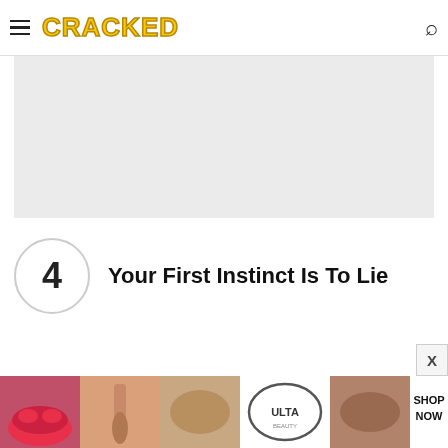CRACKED
[Figure (other): Grey advertisement placeholder box]
4 Your First Instinct Is To Lie
[Figure (photo): Ulta Beauty advertisement banner showing makeup models with text SHOP NOW]